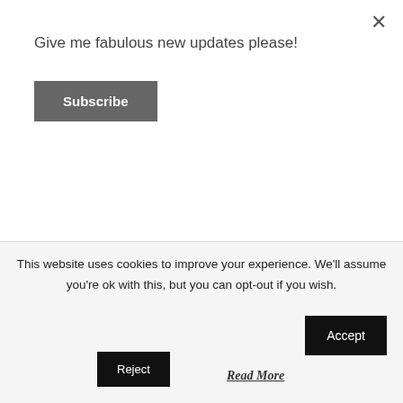Give me fabulous new updates please!
Subscribe
×
[Figure (illustration): A large red downward-pointing 3D arrow, pointing downward toward text below it.]
“We Can Teach Anyone How to
This website uses cookies to improve your experience. We'll assume you're ok with this, but you can opt-out if you wish.
Accept
Reject
Read More